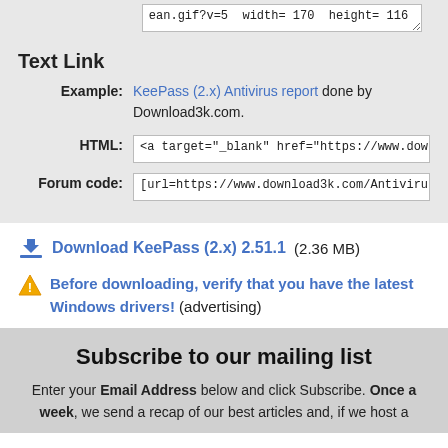ean.gif?v=5  width= 170  height= 116
Text Link
Example: KeePass (2.x) Antivirus report done by Download3k.com.
HTML: <a target="_blank" href="https://www.download...
Forum code: [url=https://www.download3k.com/Antivirus-Re...
Download KeePass (2.x) 2.51.1 (2.36 MB)
Before downloading, verify that you have the latest Windows drivers! (advertising)
Subscribe to our mailing list
Enter your Email Address below and click Subscribe. Once a week, we send a recap of our best articles and, if we host a